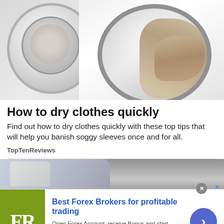[Figure (photo): Photo of a washing machine with door open and clothes (beige/tan fabric) visible inside the drum]
How to dry clothes quickly
Find out how to dry clothes quickly with these top tips that will help you banish soggy sleeves once and for all.
TopTenReviews
[Figure (photo): Partial photo of a person in a blue shirt, cropped at the bottom of the page]
Best Forex Brokers for profitable trading
Open Forex Account, receive Bonus and start earning Now
forex-ratings.com